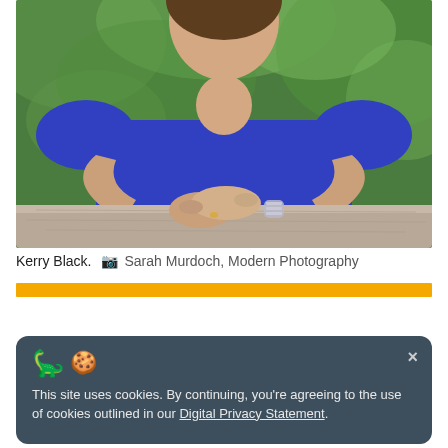[Figure (photo): A woman in a blue short-sleeve t-shirt with her hands clasped resting on a wooden ledge, photographed outdoors with a green bokeh background.]
Kerry Black.  📷  Sarah Murdoch, Modern Photography
[Figure (infographic): A cookie consent banner with a red dinosaur emoji and cookie emoji icons, an X close button, and text: 'This site uses cookies. By continuing, you're agreeing to the use of cookies outlined in our Digital Privacy Statement.']